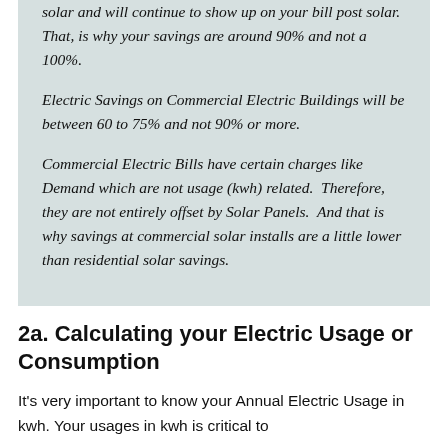solar and will continue to show up on your bill post solar. That, is why your savings are around 90% and not a 100%.
Electric Savings on Commercial Electric Buildings will be between 60 to 75% and not 90% or more.
Commercial Electric Bills have certain charges like Demand which are not usage (kwh) related. Therefore, they are not entirely offset by Solar Panels. And that is why savings at commercial solar installs are a little lower than residential solar savings.
2a. Calculating your Electric Usage or Consumption
It's very important to know your Annual Electric Usage in kwh. Your usages in kwh is critical to